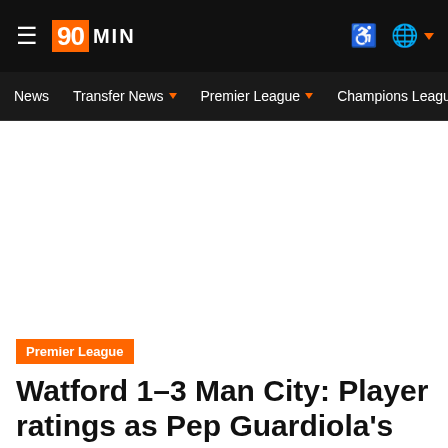90MIN
News  Transfer News  Premier League  Champions League  Eu
Premier League
Watford 1-3 Man City: Player ratings as Pep Guardiola's side